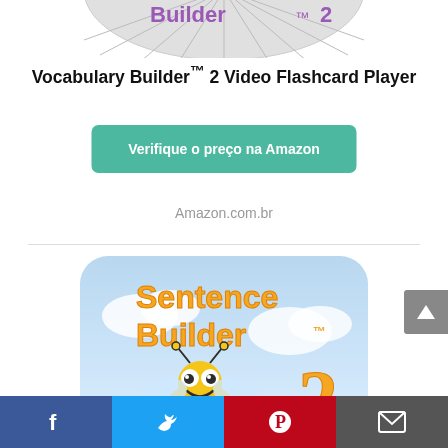[Figure (screenshot): Top portion of Vocabulary Builder 2 disc/logo partially visible at top of page]
Vocabulary Builder™ 2 Video Flashcard Player
[Figure (screenshot): Green/teal button with text 'Verifique o preço na Amazon']
Amazon.com.br
[Figure (illustration): Sentence Builder app icon showing a cartoon bee character with orange 'Sentence Builder TM' text and a '2' on a sky background with rounded corners]
[Figure (screenshot): Social sharing bar at bottom with Facebook, Twitter, Pinterest, and Email icons]